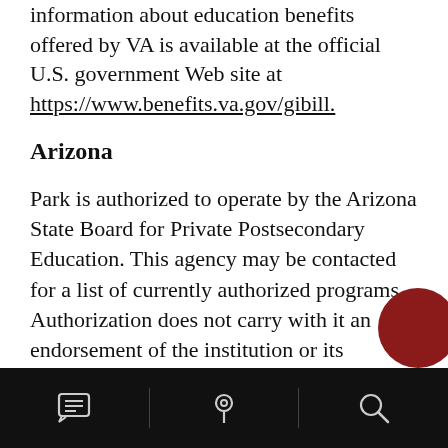information about education benefits offered by VA is available at the official U.S. government Web site at https://www.benefits.va.gov/gibill.
Arizona
Park is authorized to operate by the Arizona State Board for Private Postsecondary Education. This agency may be contacted for a list of currently authorized programs. Authorization does not carry with it an endorsement of the institution or its programs. Any person desiring information about the requirements of the act or the applicability of those requirements to the institution may
[Figure (other): Mobile app navigation bar with icons for comments/messages, location pin, and search (magnifying glass) on a black background, with red circle partially visible at bottom right]